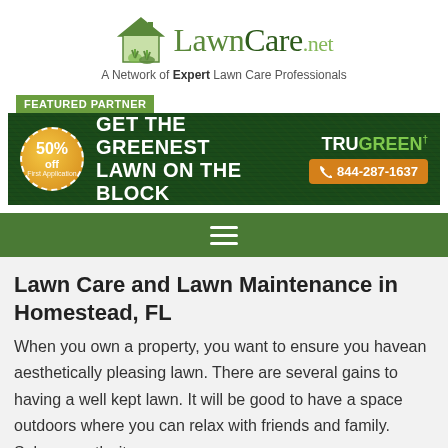[Figure (logo): LawnCare.net logo with house and grass icon, tagline: A Network of Expert Lawn Care Professionals]
[Figure (infographic): TruGreen featured partner ad banner: GET THE GREENEST LAWN ON THE BLOCK, 50% off First Application badge, phone number 844-287-1637]
Lawn Care and Lawn Maintenance in Homestead, FL
When you own a property, you want to ensure you havean aesthetically pleasing lawn. There are several gains to having a well kept lawn. It will be good to have a space outdoors where you can relax with friends and family. Subsequently, it can